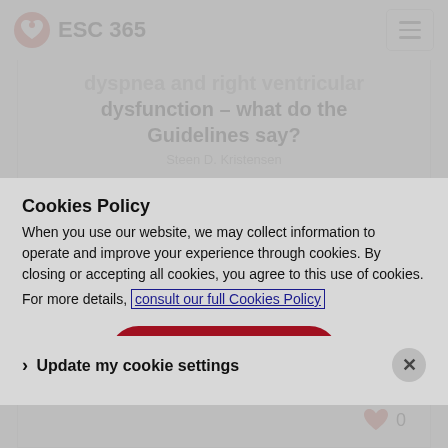ESC 365
dyspnea and right ventricular dysfunction – what do the Guidelines say?
Steen D. Kristensen
Cookies Policy
When you use our website, we may collect information to operate and improve your experience through cookies. By closing or accepting all cookies, you agree to this use of cookies.
For more details, consult our full Cookies Policy
✓ Accept all cookies and close
› Update my cookie settings
Slides